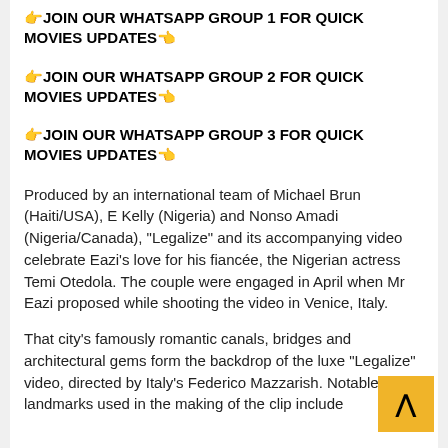👉JOIN OUR WHATSAPP GROUP 1 FOR QUICK MOVIES UPDATES👈
👉JOIN OUR WHATSAPP GROUP 2 FOR QUICK MOVIES UPDATES👈
👉JOIN OUR WHATSAPP GROUP 3 FOR QUICK MOVIES UPDATES👈
Produced by an international team of Michael Brun (Haiti/USA), E Kelly (Nigeria) and Nonso Amadi (Nigeria/Canada), "Legalize" and its accompanying video celebrate Eazi's love for his fiancée, the Nigerian actress Temi Otedola. The couple were engaged in April when Mr Eazi proposed while shooting the video in Venice, Italy.
That city's famously romantic canals, bridges and architectural gems form the backdrop of the luxe "Legalize" video, directed by Italy's Federico Mazzarish. Notable landmarks used in the making of the clip include the Col Grande Hotel and the Ponte Della Roma...